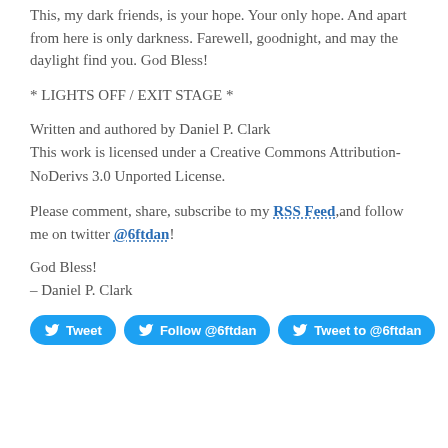This, my dark friends, is your hope. Your only hope. And apart from here is only darkness. Farewell, goodnight, and may the daylight find you. God Bless!
* LIGHTS OFF / EXIT STAGE *
Written and authored by Daniel P. Clark
This work is licensed under a Creative Commons Attribution-NoDerivs 3.0 Unported License.
Please comment, share, subscribe to my RSS Feed,and follow me on twitter @6ftdan!
God Bless!
– Daniel P. Clark
[Figure (other): Three Twitter social buttons: Tweet, Follow @6ftdan, Tweet to @6ftdan]